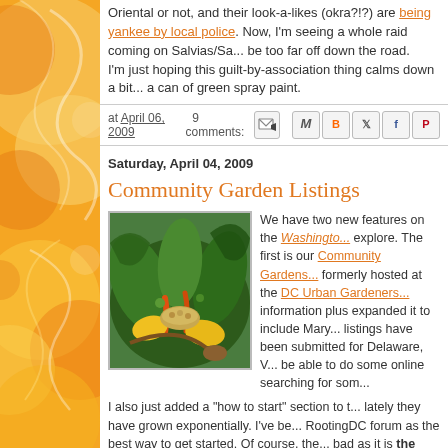[Figure (illustration): Decorative orange/yellow swirling floral sidebar design]
Oriental or not, and their look-a-likes (okra?!?) are being yanked by local police. Now, I'm seeing a whole raid coming on Salvias/Sa... be too far off down the road.
I'm just hoping this guilt-by-association thing calms down a bit... a can of green spray paint.
at April 06, 2009  9 comments:
Saturday, April 04, 2009
Community Garden Listings
[Figure (photo): Photo of fresh vegetables and greens including kale, carrots, peppers, and grains arranged on a surface]
We have two new features on the Washington... explore. The first is our Community Gardens... formerly hosted at the DC Urban Gardeners... information plus expanded it to include Mary... listings have been submitted for Delaware, V... be able to do some online searching for som...
I also just added a "how to start" section to t... lately they have grown exponentially. I've be... RootingDC forum as the best way to get started. Of course, the... bad as it is the place to network and learn the basics on setting...